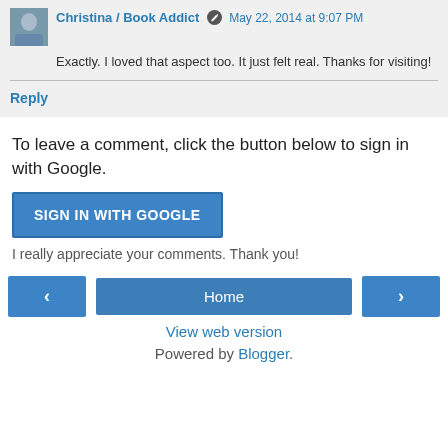Christina / Book Addict  May 22, 2014 at 9:07 PM
Exactly. I loved that aspect too. It just felt real. Thanks for visiting!
Reply
To leave a comment, click the button below to sign in with Google.
SIGN IN WITH GOOGLE
I really appreciate your comments. Thank you!
Home
View web version
Powered by Blogger.